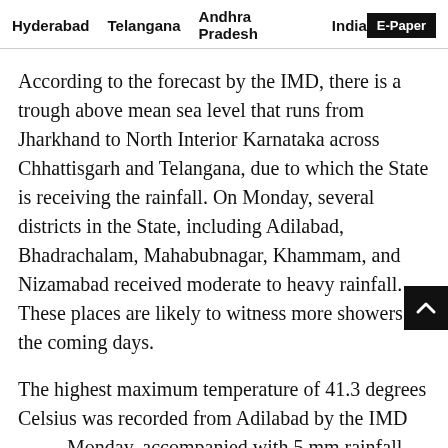Hyderabad   Telangana   Andhra Pradesh   India   E-Paper
According to the forecast by the IMD, there is a trough above mean sea level that runs from Jharkhand to North Interior Karnataka across Chhattisgarh and Telangana, due to which the State is receiving the rainfall. On Monday, several districts in the State, including Adilabad, Bhadrachalam, Mahabubnagar, Khammam, and Nizamabad received moderate to heavy rainfall. These places are likely to witness more showers in the coming days.
The highest maximum temperature of 41.3 degrees Celsius was recorded from Adilabad by the IMD on Monday, accompanied with 5 mm rainfall. Mahabubnagar received the highest rainfall of 48.8